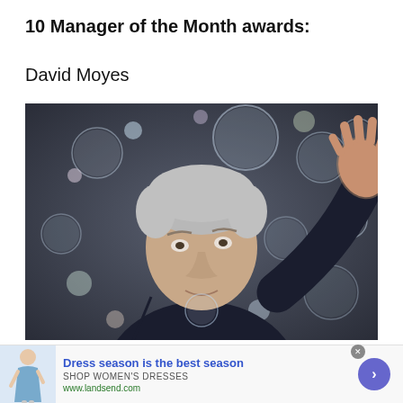10 Manager of the Month awards:
David Moyes
[Figure (photo): David Moyes waving with both hands raised, against a dark background with soap bubbles/bokeh lights, wearing a dark navy jacket]
Dress season is the best season
SHOP WOMEN'S DRESSES
www.landsend.com